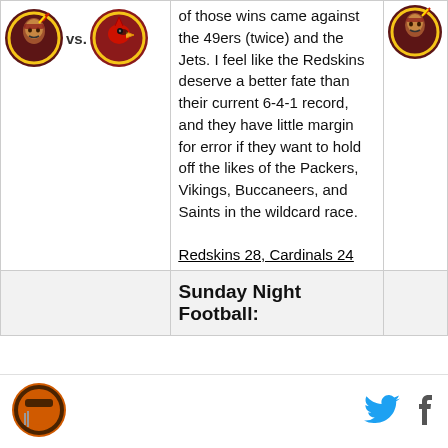[Figure (logo): Washington Redskins logo vs Arizona Cardinals logo]
of those wins came against the 49ers (twice) and the Jets. I feel like the Redskins deserve a better fate than their current 6-4-1 record, and they have little margin for error if they want to hold off the likes of the Packers, Vikings, Buccaneers, and Saints in the wildcard race. Redskins 28, Cardinals 24
[Figure (logo): Washington Redskins logo (right side)]
Sunday Night Football:
[Figure (logo): Cleveland Browns logo in bottom bar]